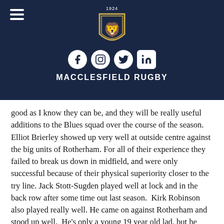[Figure (logo): Macclesfield Rugby club crest/shield logo with lion, gold border, on navy background, with year 1924 above]
[Figure (infographic): Social media icons: Facebook (circle), Instagram (circle), Twitter (circle), LinkedIn (square) in white on navy background]
MACCLESFIELD RUGBY
good as I know they can be, and they will be really useful additions to the Blues squad over the course of the season. Elliot Brierley showed up very well at outside centre against the big units of Rotherham. For all of their experience they failed to break us down in midfield, and were only successful because of their physical superiority closer to the try line. Jack Stott-Sugden played well at lock and in the back row after some time out last season.  Kirk Robinson also played really well. He came on against Rotherham and stood up well.  He's only a young 19 year old lad, but he fared pretty well against the big strong